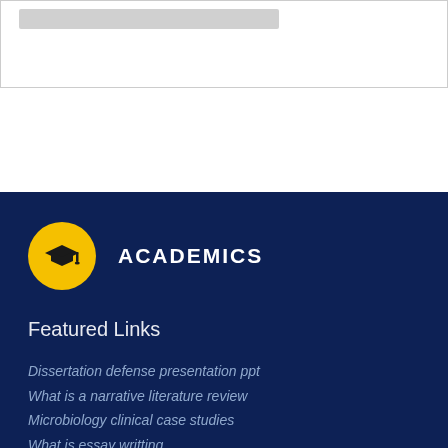[Figure (screenshot): White box with a gray horizontal bar at the top, representing a UI element or search bar]
ACADEMICS
Featured Links
Dissertation defense presentation ppt
What is a narrative literature review
Microbiology clinical case studies
What is essay writting
Best search engine for scientific papers
Intro to essay writing